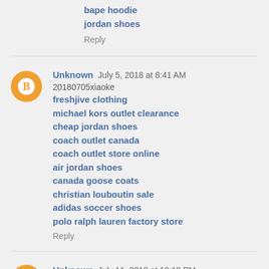bape hoodie
jordan shoes
Reply
Unknown  July 5, 2018 at 8:41 AM
20180705xiaoke
freshjive clothing
michael kors outlet clearance
cheap jordan shoes
coach outlet canada
coach outlet store online
air jordan shoes
canada goose coats
christian louboutin sale
adidas soccer shoes
polo ralph lauren factory store
Reply
Unknown  July 11, 2018 at 10:18 PM